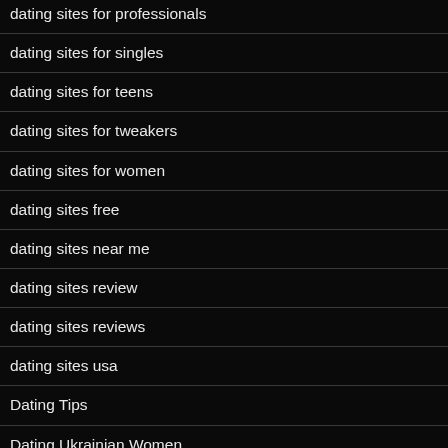dating sites for professionals
dating sites for singles
dating sites for teens
dating sites for tweakers
dating sites for women
dating sites free
dating sites near me
dating sites review
dating sites reviews
dating sites usa
Dating Tips
Dating Ukrainian Women
dating web sites